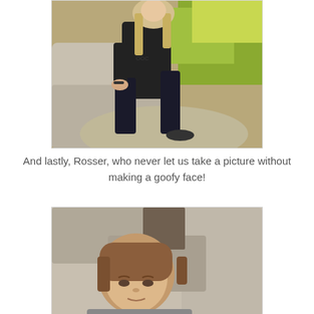[Figure (photo): A teenage girl with long blonde hair wearing a black t-shirt and dark jeans, sitting on large granite boulders with yellow-green foliage in the background.]
And lastly, Rosser, who never let us take a picture without making a goofy face!
[Figure (photo): A boy with brown medium-length hair, looking slightly downward, with large granite boulders in the background. The photo is cropped showing mostly his head and upper shoulders.]